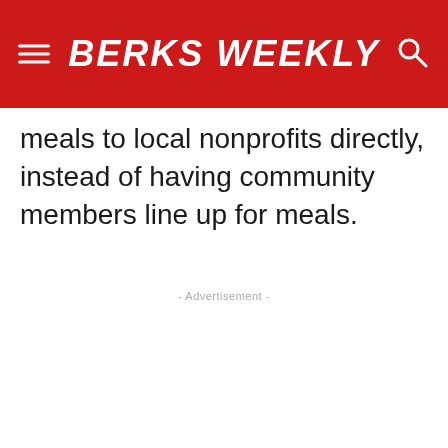BERKS WEEKLY
meals to local nonprofits directly, instead of having community members line up for meals.
- Advertisement -